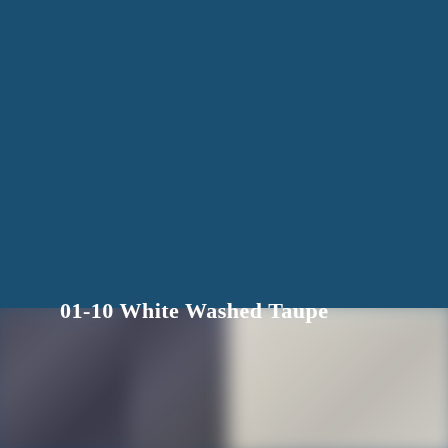[Figure (photo): Dark steel blue background filling most of the page, with a blurred bottom section showing paint color swatches — dark gray/charcoal swatches on the left and a light taupe/cream swatch on the right.]
01-10 White Washed Taupe